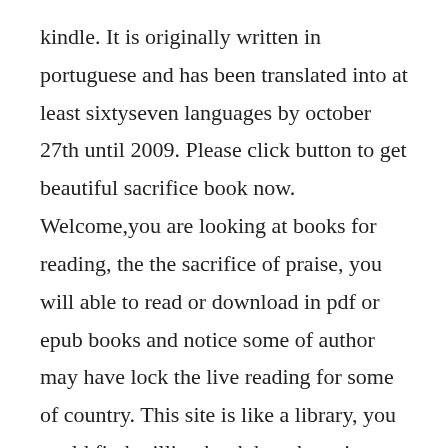kindle. It is originally written in portuguese and has been translated into at least sixtyseven languages by october 27th until 2009. Please click button to get beautiful sacrifice book now. Welcome,you are looking at books for reading, the the sacrifice of praise, you will able to read or download in pdf or epub books and notice some of author may have lock the live reading for some of country. This site is like a library, you could find million book here by using search box in the widget.
Beautiful sacrifice by jamie mcguire,